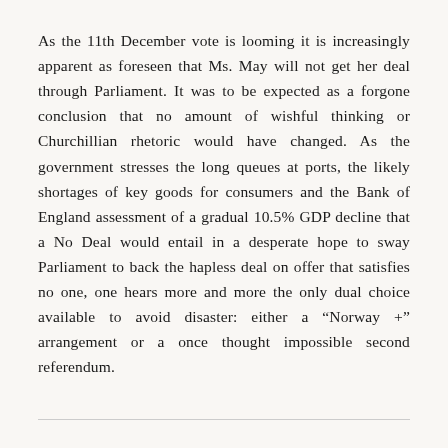As the 11th December vote is looming it is increasingly apparent as foreseen that Ms. May will not get her deal through Parliament. It was to be expected as a forgone conclusion that no amount of wishful thinking or Churchillian rhetoric would have changed. As the government stresses the long queues at ports, the likely shortages of key goods for consumers and the Bank of England assessment of a gradual 10.5% GDP decline that a No Deal would entail in a desperate hope to sway Parliament to back the hapless deal on offer that satisfies no one, one hears more and more the only dual choice available to avoid disaster: either a “Norway +” arrangement or a once thought impossible second referendum.